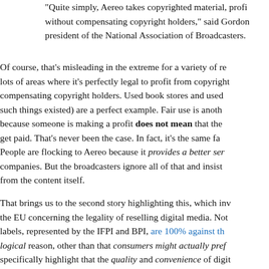“Quite simply, Aereo takes copyrighted material, prof without compensating copyright holders,” said Gordon president of the National Association of Broadcasters.
Of course, that’s misleading in the extreme for a variety of re lots of areas where it’s perfectly legal to profit from copyright compensating copyright holders. Used book stores and used such things existed) are a perfect example. Fair use is anoth because someone is making a profit does not mean that the get paid. That’s never been the case. In fact, it’s the same fa People are flocking to Aereo because it provides a better ser companies. But the broadcasters ignore all of that and insist from the content itself.
That brings us to the second story highlighting this, which inv the EU concerning the legality of reselling digital media. Not labels, represented by the IFPI and BPI, are 100% against th logical reason, other than that consumers might actually pref specifically highlight that the quality and convenience of digit and that might upset the business model the record labels